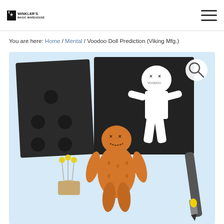Winkler's Magic Warehouse
You are here: Home / Mental / Voodoo Doll Prediction (Viking Mfg.)
[Figure (photo): Product photo of Voodoo Doll Prediction magic set by Viking Mfg. Shows two black magnetic boards (one with circular holes, one with a white voodoo doll silhouette with X eyes and a heart), an orange knitted voodoo doll with X stitched face and hash mark symbols on torso, a cork base with yellow-headed pins, and a black marker pen, all on a light blue background. A magnifying glass search icon appears in the upper right of the image.]